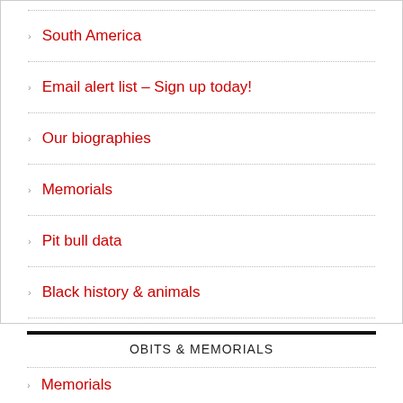South America
Email alert list – Sign up today!
Our biographies
Memorials
Pit bull data
Black history & animals
OBITS & MEMORIALS
Memorials